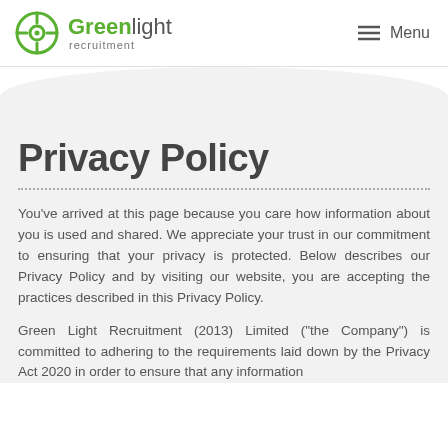Greenlight recruitment — Menu
Privacy Policy
You've arrived at this page because you care how information about you is used and shared. We appreciate your trust in our commitment to ensuring that your privacy is protected. Below describes our Privacy Policy and by visiting our website, you are accepting the practices described in this Privacy Policy.
Green Light Recruitment (2013) Limited ("the Company") is committed to adhering to the requirements laid down by the Privacy Act 2020 in order to ensure that any information